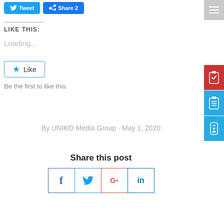[Figure (screenshot): Tweet and Facebook Share social media buttons at top left]
[Figure (screenshot): Right sidebar with hamburger menu icon, red clipboard check icon, blue clipboard list icon, and blue phone icon]
LIKE THIS:
Loading...
[Figure (screenshot): Star Like button with border]
Be the first to like this.
By UNIKO Media Group • May 1, 2020
Share this post
[Figure (screenshot): Four social share buttons: Facebook (f), Twitter bird, Google+ (G+), LinkedIn (in)]